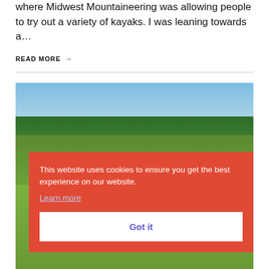where Midwest Mountaineering was allowing people to try out a variety of kayaks. I was leaning towards a…
READ MORE →
[Figure (photo): Outdoor landscape photo showing a green field with trees in the background and a blue sky]
This website uses cookies to ensure you get the best experience on our website.
Learn more
Got it